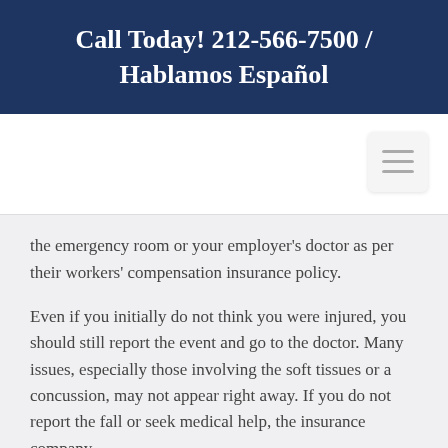Call Today! 212-566-7500 / Hablamos Español
[Figure (other): Hamburger menu icon button (three horizontal lines) in a rounded square button, positioned top-right of navigation area]
the emergency room or your employer's doctor as per their workers' compensation insurance policy.
Even if you initially do not think you were injured, you should still report the event and go to the doctor. Many issues, especially those involving the soft tissues or a concussion, may not appear right away. If you do not report the fall or seek medical help, the insurance company